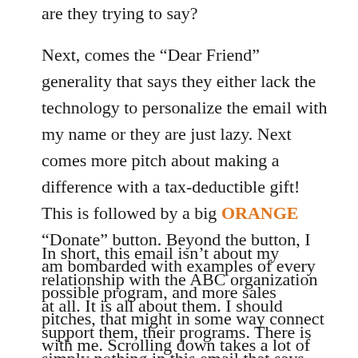are they trying to say?
Next, comes the “Dear Friend” generality that says they either lack the technology to personalize the email with my name or they are just lazy. Next comes more pitch about making a difference with a tax-deductible gift! This is followed by a big ORANGE “Donate” button. Beyond the button, I am bombarded with examples of every possible program, and more sales pitches, that might in some way connect with me. Scrolling down takes a lot of time on this email.
In short, this email isn’t about my relationship with the ABC organization at all. It is all about them. I should support them, their programs. There is simply nothing in this email that says that they have taken the time to